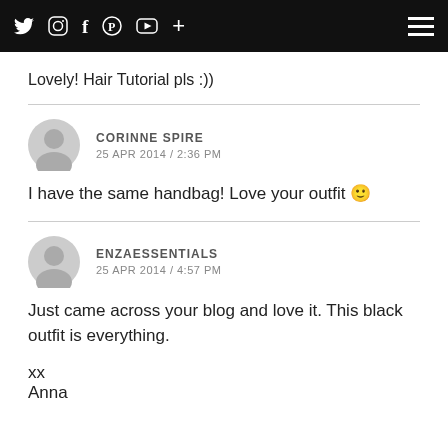Twitter Instagram Facebook Pinterest YouTube + [hamburger menu]
Lovely! Hair Tutorial pls :))
CORINNE SPIRE
25 APR 2014 / 2:36 PM
I have the same handbag! Love your outfit 🙂
ENZAESSENTIALS
25 APR 2014 / 4:57 PM
Just came across your blog and love it. This black outfit is everything.

xx
Anna